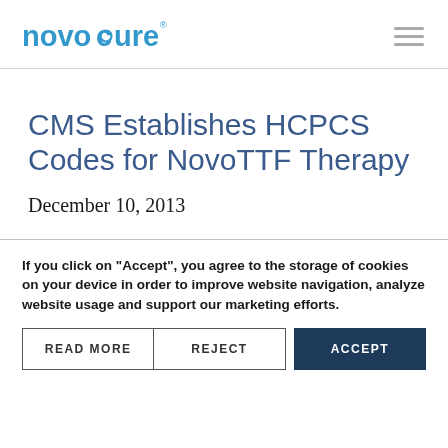novocure
CMS Establishes HCPCS Codes for NovoTTF Therapy
December 10, 2013
If you click on "Accept", you agree to the storage of cookies on your device in order to improve website navigation, analyze website usage and support our marketing efforts.
READ MORE | REJECT | ACCEPT